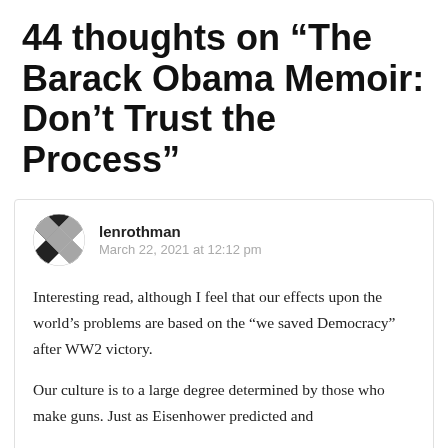44 thoughts on “The Barack Obama Memoir: Don’t Trust the Process”
lenrothman
March 22, 2021 at 12:12 pm
Interesting read, although I feel that our effects upon the world’s problems are based on the “we saved Democracy” after WW2 victory.
Our culture is to a large degree determined by those who make guns. Just as Eisenhower predicted and